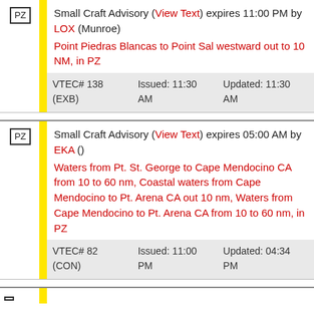PZ - Small Craft Advisory (View Text) expires 11:00 PM by LOX (Munroe). Point Piedras Blancas to Point Sal westward out to 10 NM, in PZ. VTEC# 138 (EXB) Issued: 11:30 AM Updated: 11:30 AM
PZ - Small Craft Advisory (View Text) expires 05:00 AM by EKA (). Waters from Pt. St. George to Cape Mendocino CA from 10 to 60 nm, Coastal waters from Cape Mendocino to Pt. Arena CA out 10 nm, Waters from Cape Mendocino to Pt. Arena CA from 10 to 60 nm, in PZ. VTEC# 82 (CON) Issued: 11:00 PM Updated: 04:34 PM